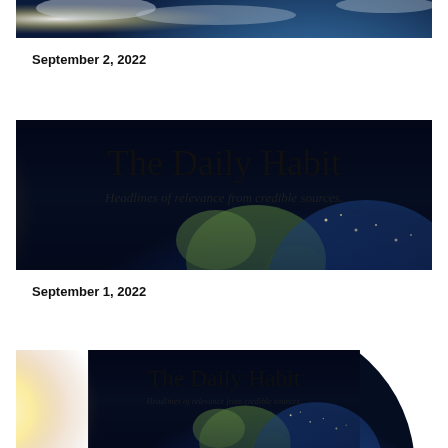[Figure (photo): Partial view of Earth from space showing North America, bottom portion of a banner image for The Daily Habit newsletter]
September 2, 2022
[Figure (photo): Banner image for The Daily Habit newsletter showing Earth from space with title 'The Daily Habit' and subtitle 'Headlines of relevance from credible sources.']
September 1, 2022
[Figure (photo): Partial banner image for The Daily Habit newsletter showing Earth from space with title 'The Daily Habit' and subtitle 'Headlines of relevance from credible sources.' - cropped at bottom]